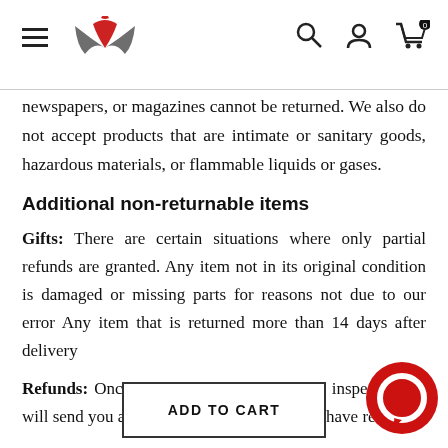Navigation header with hamburger menu, logo, search, account, and cart icons
newspapers, or magazines cannot be returned. We also do not accept products that are intimate or sanitary goods, hazardous materials, or flammable liquids or gases.
Additional non-returnable items
Gifts: There are certain situations where only partial refunds are granted. Any item not in its original condition is damaged or missing parts for reasons not due to our error Any item that is returned more than 14 days after delivery
Refunds: Once your return is received and inspected, we will send you an email to notify you that we have received